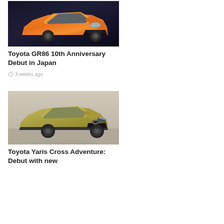[Figure (photo): Toyota GR86 sports car in orange color, front view with GR86 badge, shown against dark background]
Toyota GR86 10th Anniversary Debut in Japan
3 weeks ago
[Figure (photo): Toyota Yaris Cross Adventure in gold/olive color, SUV front three-quarter view, shown in studio setting]
Toyota Yaris Cross Adventure: Debut with new